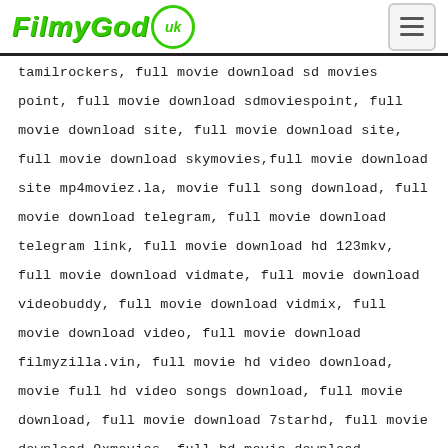FilmyGod.uk
tamilrockers, full movie download sd movies point, full movie download sdmoviespoint, full movie download site, full movie download site, full movie download skymovies,full movie download site mp4moviez.la, movie full song download, full movie download telegram, full movie download telegram link, full movie download hd 123mkv, full movie download vidmate, full movie download videobuddy, full movie download vidmix, full movie download video, full movie download filmyzilla.vin, full movie hd video download, movie full hd video songs download, full movie download, full movie download 7starhd, full movie download 9xmovies, full hd movie download 9xmovies, full hd movie download 9xmovies, movie download 9xmovies, full movie download in hindi 9xmovies,